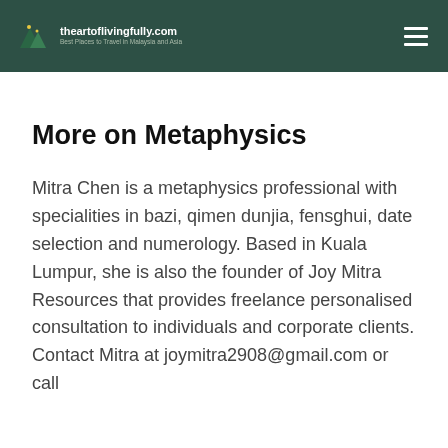theartoflivingfully.com — Best Places to Travel in Malaysia and Asia
More on Metaphysics
Mitra Chen is a metaphysics professional with specialities in bazi, qimen dunjia, fensghui, date selection and numerology. Based in Kuala Lumpur, she is also the founder of Joy Mitra Resources that provides freelance personalised consultation to individuals and corporate clients. Contact Mitra at joymitra2908@gmail.com or call